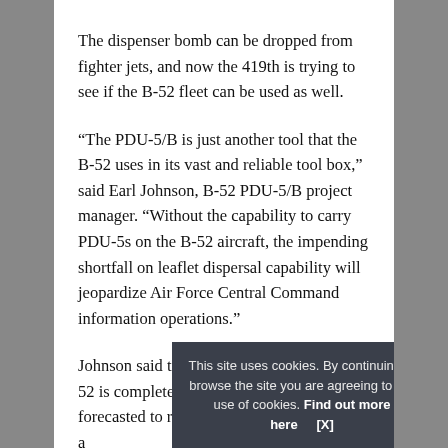The dispenser bomb can be dropped from fighter jets, and now the 419th is trying to see if the B-52 fleet can be used as well.
“The PDU-5/B is just another tool that the B-52 uses in its vast and reliable tool box,” said Earl Johnson, B-52 PDU-5/B project manager. “Without the capability to carry PDU-5s on the B-52 aircraft, the impending shortfall on leaflet dispersal capability will jeopardize Air Force Central Command information operations.”
Johnson said testing the PDU-5/B on the B-52 is complete for now. The program is forecasted to return at a... from the B...
This site uses cookies. By continuing to browse the site you are agreeing to our use of cookies. Find out more here   [X]